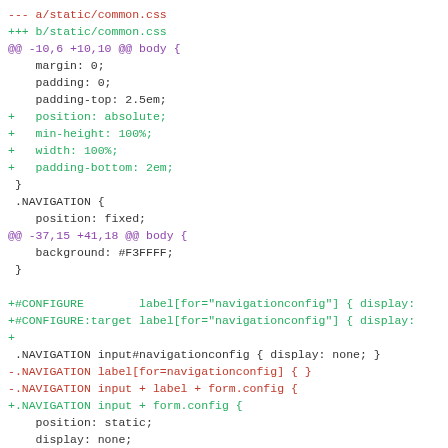[Figure (screenshot): A code diff screenshot showing changes to a/static/common.css and b/static/common.css with added and removed CSS lines highlighted in green and red respectively, with hunk headers in magenta.]